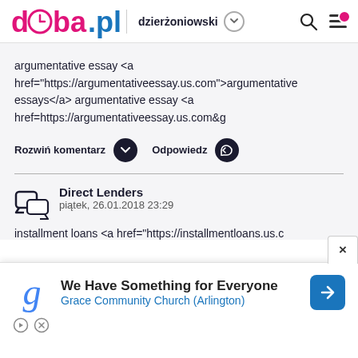doba.pl | dzierżoniowski
argumentative essay <a href="https://argumentativeessay.us.com">argumentative essays</a> argumentative essay <a href=https://argumentativeessay.us.com&g
Rozwiń komentarz   Odpowiedz
Direct Lenders
piątek, 26.01.2018 23:29
installment loans <a href="https://installmentloans.us.c
[Figure (infographic): Advertisement banner: Grace Community Church (Arlington) - We Have Something for Everyone]